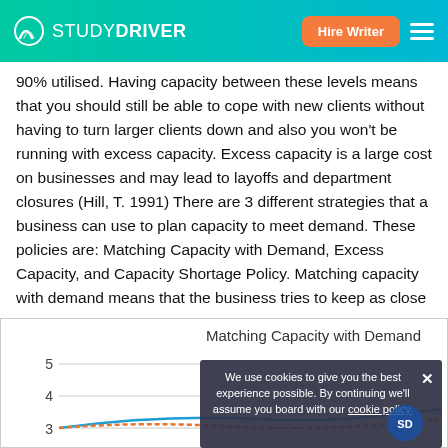STUDYDRIVER | Hire Writer
90% utilised. Having capacity between these levels means that you should still be able to cope with new clients without having to turn larger clients down and also you won't be running with excess capacity. Excess capacity is a large cost on businesses and may lead to layoffs and department closures (Hill, T. 1991) There are 3 different strategies that a business can use to plan capacity to meet demand. These policies are: Matching Capacity with Demand, Excess Capacity, and Capacity Shortage Policy. Matching capacity with demand means that the business tries to keep as close to demand as they possibly can.
[Figure (continuous-plot): Partial view of a line chart titled 'Matching Capacity with Demand' showing y-axis values 3, 4, 5 visible at the bottom of the page.]
We use cookies to give you the best experience possible. By continuing we'll assume you board with our cookie policy.